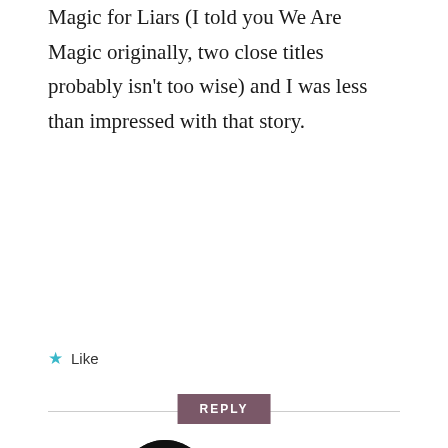super pumped for this author but then I read Magic for Liars (I told you We Are Magic originally, two close titles probably isn't too wise) and I was less than impressed with that story.
Like
REPLY
[Figure (logo): Circular black avatar with teal GTL letters — Grab the Lapels blog logo]
Grab the Lapels
DECEMBER 8, 2021 AT 9:23 AM
Yeah, I had to DNF Upright Women Wanted. That one was pretty much a